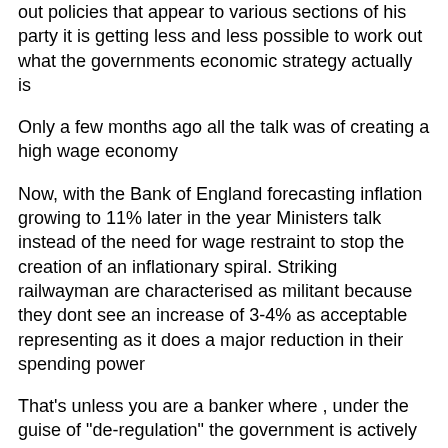out policies that appear to various sections of his party it is getting less and less possible to work out what the governments economic strategy actually is
Only a few months ago all the talk was of creating a high wage economy
Now, with the Bank of England forecasting inflation growing to 11% later in the year Ministers talk instead of the need for wage restraint to stop the creation of an inflationary spiral. Striking railwayman are characterised as militant because they dont see an increase of 3-4% as acceptable representing as it does a major reduction in their spending power
That's unless you are a banker where , under the guise of "de-regulation" the government is actively considering removing the cap on bankers bonuses